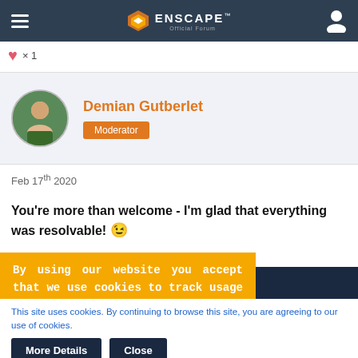Enscape Official Forum
× 1
Demian Gutberlet
Moderator
Feb 17th 2020
You're more than welcome - I'm glad that everything was resolvable! 😉
By using our website you accept that we use cookies to track usage and improve the relevancy of ads and may
This site uses cookies. By continuing to browse this site, you are agreeing to our use of cookies.
More Details   Close